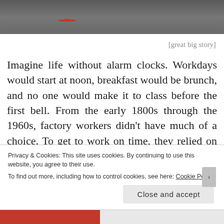[Figure (photo): Partial photo of a person in grey clothing, with a red element visible, holding what appears to be a long stick or pole. Top portion of image cropped.]
[great big story]
Imagine life without alarm clocks. Workdays would start at noon, breakfast would be brunch, and no one would make it to class before the first bell. From the early 1800s through the 1960s, factory workers didn't have much of a choice. To get to work on time, they relied on “knockuppers,” aka, human alarm clocks. Using long bamboo sticks, or peashooters, Britain’s knocker-uppers would stroll down the streets rapping at windows to help their patrons kick-start their days.
Privacy & Cookies: This site uses cookies. By continuing to use this website, you agree to their use.
To find out more, including how to control cookies, see here: Cookie Policy